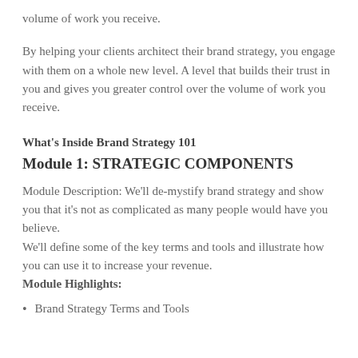volume of work you receive.
By helping your clients architect their brand strategy, you engage with them on a whole new level. A level that builds their trust in you and gives you greater control over the volume of work you receive.
What's Inside Brand Strategy 101
Module 1: STRATEGIC COMPONENTS
Module Description: We'll de-mystify brand strategy and show you that it's not as complicated as many people would have you believe.
We'll define some of the key terms and tools and illustrate how you can use it to increase your revenue.
Module Highlights:
Brand Strategy Terms and Tools